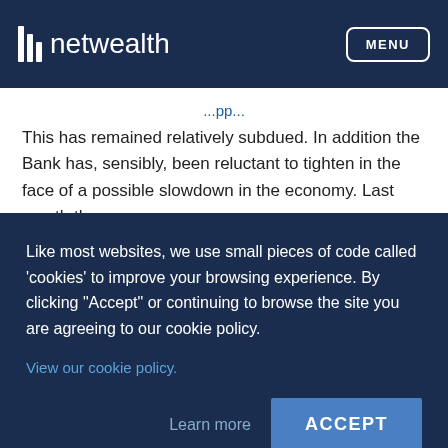netwealth  MENU
This has remained relatively subdued. In addition the Bank has, sensibly, been reluctant to tighten in the face of a possible slowdown in the economy. Last month the
Like most websites, we use small pieces of code called ‘cookies’ to improve your browsing experience. By clicking "Accept" or continuing to browse the site you are agreeing to our cookie policy.
View our cookie policy.
Learn more
ACCEPT